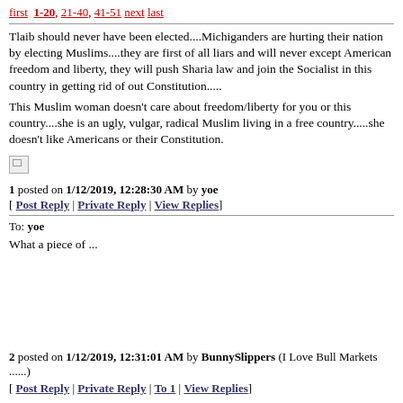first 1-20, 21-40, 41-51 next last
Tlaib should never have been elected....Michiganders are hurting their nation by electing Muslims....they are first of all liars and will never except American freedom and liberty, they will push Sharia law and join the Socialist in this country in getting rid of out Constitution.....
This Muslim woman doesn't care about freedom/liberty for you or this country....she is an ugly, vulgar, radical Muslim living in a free country.....she doesn't like Americans or their Constitution.
[Figure (other): Broken image placeholder]
1 posted on 1/12/2019, 12:28:30 AM by yoe
[ Post Reply | Private Reply | View Replies]
To: yoe
What a piece of ...
2 posted on 1/12/2019, 12:31:01 AM by BunnySlippers (I Love Bull Markets ......)
[ Post Reply | Private Reply | To 1 | View Replies]